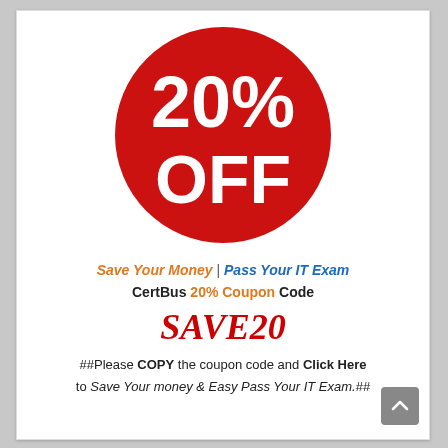[Figure (infographic): Large red circle with bold white text reading '20% OFF']
Save Your Money | Pass Your IT Exam
CertBus 20% Coupon Code
SAVE20
##Please COPY the coupon code and Click Here to Save Your money & Easy Pass Your IT Exam.##